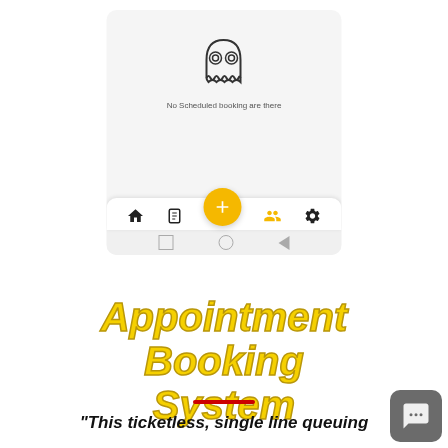[Figure (screenshot): Mobile app screenshot showing empty state with ghost illustration, 'No Scheduled booking are there' message, and bottom navigation bar with home, list, plus FAB, people, and settings icons, plus Android navigation buttons.]
Appointment Booking System
“This ticketless, single line queuing